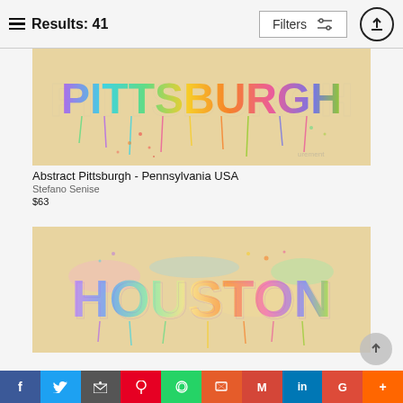Results: 41   Filters   [filter icon]   [upload icon]
[Figure (illustration): Abstract watercolor art of PITTSBURGH text with colorful dripping paint letters on beige background]
Abstract Pittsburgh - Pennsylvania USA
Stefano Senise
$63
[Figure (illustration): Abstract watercolor art of HOUSTON text with colorful splattered paint letters on beige background]
f  [Twitter]  [Email]  [Pinterest]  [WhatsApp]  [Print]  M  in  G  +